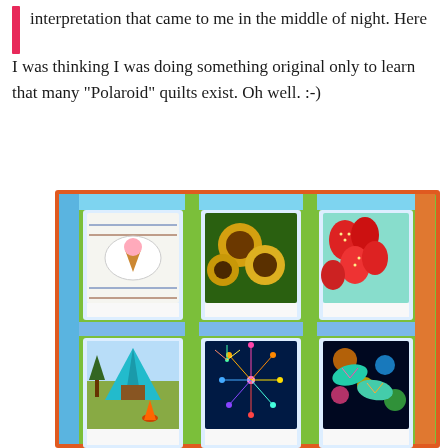interpretation that came to me in the middle of night. Here I was thinking I was doing something original only to learn that many "Polaroid" quilts exist. Oh well. :-)
[Figure (photo): A colorful patchwork quilt featuring Polaroid-style photo blocks arranged in a grid. The quilt shows 9 visible Polaroid blocks with various summer-themed images: a decorative design with an ice cream cone, sunflowers, strawberries, a camping tent with campfire, fireworks, flip-flops on a dark background, and partial bottom row showing colorful items, a sailboat scene, and watermelon. The blocks are set against colorful sashing in blue, green, orange, and yellow.]